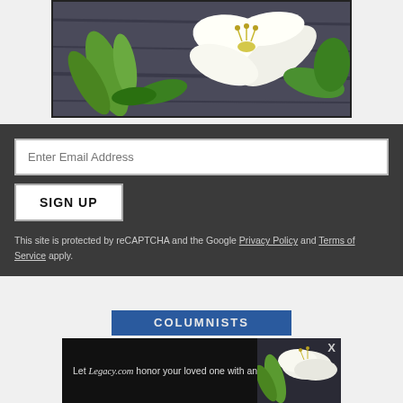[Figure (photo): Close-up photograph of white lily flowers with green buds on a dark wooden surface]
Enter Email Address
SIGN UP
This site is protected by reCAPTCHA and the Google Privacy Policy and Terms of Service apply.
[Figure (screenshot): Partially visible COLUMNISTS section header bar in dark blue]
[Figure (photo): Legacy.com advertisement banner: 'Let Legacy.com honor your loved one with an' with lily flower image]